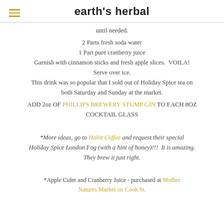earth's herbal
until needed.

2 Parts fresh soda water
1 Part pure cranberry juice
Garnish with cinnamon sticks and fresh apple slices.  VOILA!
Serve over ice.
This drink was so popular that I sold out of Holiday Spice tea on both Saturday and Sunday at the market.
ADD 2oz OF PHILLIPS BREWERY STUMP GIN TO EACH 8OZ COCKTAIL GLASS
*More ideas, go to Habit Coffee and request their special Holiday Spice London Fog (with a hint of honey)!!!  It is amazing.  They brew it just right.
*Apple Cider and Cranberry Juice - purchased at Mother Natures Market on Cook St.